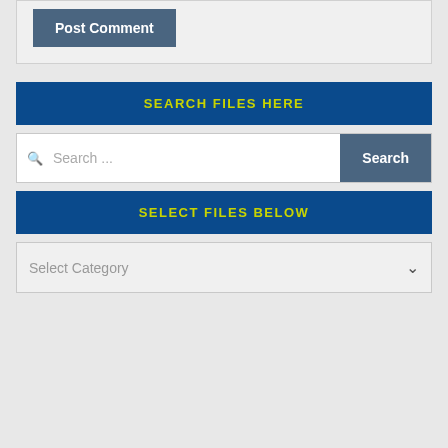[Figure (screenshot): Post Comment button in a gray form section]
SEARCH FILES HERE
[Figure (screenshot): Search input field with magnifier icon and Search button]
SELECT FILES BELOW
[Figure (screenshot): Select Category dropdown]